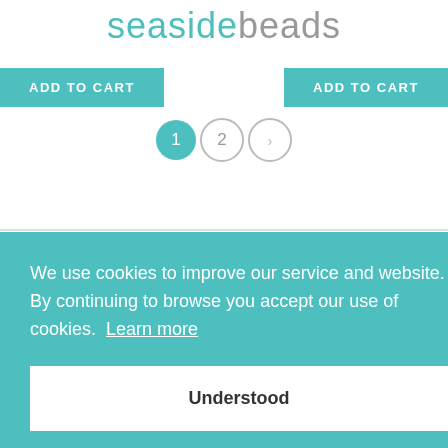seasidebeads
ADD TO CART  ADD TO CART
1  2  >
We use cookies to improve our service and website. By continuing to browse you accept our use of cookies. Learn more
Understood